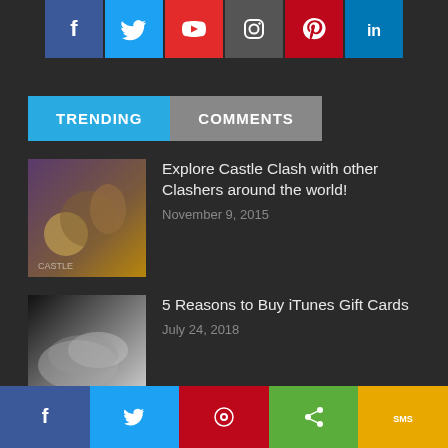[Figure (other): Social media icon buttons top row: Facebook (blue), Twitter (cyan), YouTube (red), Instagram (gray), Pinterest (red), LinkedIn (blue)]
[Figure (other): Tab navigation with TRENDING (cyan/blue active) and COMMENTS (gray inactive) tabs]
Explore Castle Clash with other Clashers around the world! — November 9, 2015
5 Reasons to Buy iTunes Gift Cards — July 24, 2018
Pokémon Go January 2020 Events Include New Gen 5 Pokemon, A Returning Legendary — December 31, 2019
[Figure (other): Bottom share bar with Facebook, Twitter, Pinterest, Share, and SMS buttons]